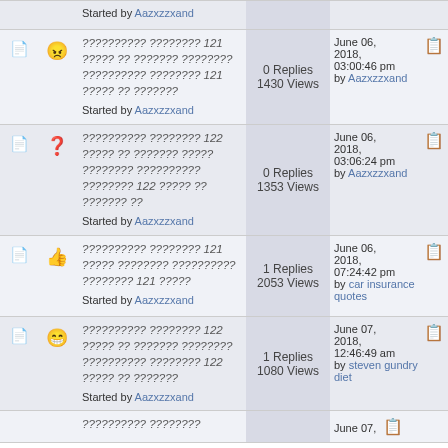Started by Aazxzzxand
?????????? ???????? 121 ????? ?? ??????? ???????? ?????????? ???????? 121 ????? ?? ??????? | Started by Aazxzzxand | 0 Replies 1430 Views | June 06, 2018, 03:00:46 pm by Aazxzzxand
?????????? ???????? 122 ????? ?? ??????? ????? ???????? ?????????? ???????? 122 ????? ?? ??????? ?? | Started by Aazxzzxand | 0 Replies 1353 Views | June 06, 2018, 03:06:24 pm by Aazxzzxand
?????????? ???????? 121 ????? ???????? ?????????? ???????? 121 ????? | Started by Aazxzzxand | 1 Replies 2053 Views | June 06, 2018, 07:24:42 pm by car insurance quotes
?????????? ???????? 122 ????? ?? ??????? ???????? ?????????? ???????? 122 ????? ?? ??????? | Started by Aazxzzxand | 1 Replies 1080 Views | June 07, 2018, 12:46:49 am by steven gundry diet
?????????? ???????? | June 07